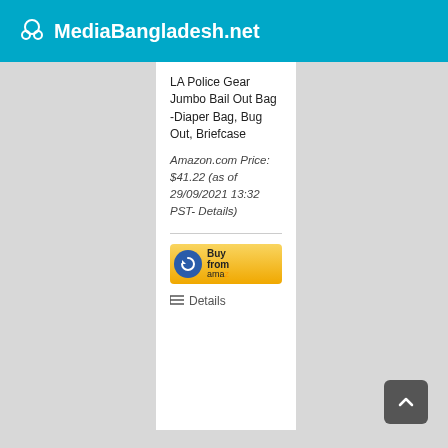MediaBangladesh.net
LA Police Gear Jumbo Bail Out Bag -Diaper Bag, Bug Out, Briefcase
Amazon.com Price: $41.22 (as of 29/09/2021 13:32 PST- Details)
[Figure (screenshot): Buy from Amazon button with circular arrow logo]
Details